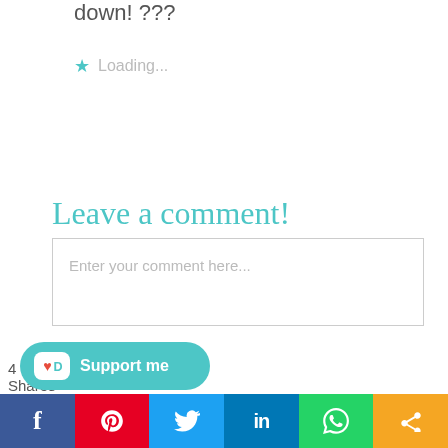down! ???
★ Loading...
Leave a comment!
Enter your comment here...
4 Shares
[Figure (screenshot): Support me button with Ko-fi cup icon in teal, and social sharing bar with Facebook, Pinterest, Twitter, LinkedIn, WhatsApp, and share icons]